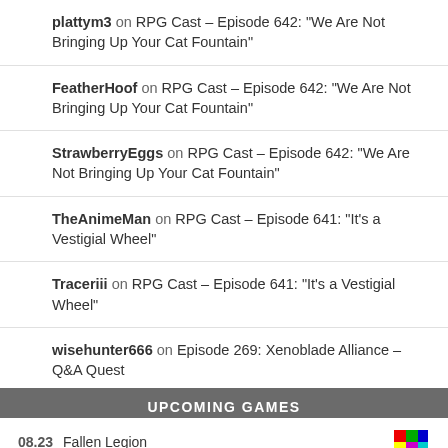plattym3 on RPG Cast – Episode 642: “We Are Not Bringing Up Your Cat Fountain”
FeatherHoof on RPG Cast – Episode 642: “We Are Not Bringing Up Your Cat Fountain”
StrawberryEggs on RPG Cast – Episode 642: “We Are Not Bringing Up Your Cat Fountain”
TheAnimeMan on RPG Cast – Episode 641: “It’s a Vestigial Wheel”
Traceriii on RPG Cast – Episode 641: “It’s a Vestigial Wheel”
wisehunter666 on Episode 269: Xenoblade Alliance – Q&A Quest
FeatherHoof on RPG Cast – Episode 641: “It’s a Vestigial Wheel”
neoxman on RPG Cast – Episode 639: “Can We Just Kill This Guy and Get a New Hero”
UPCOMING GAMES
08.23  Fallen Legion